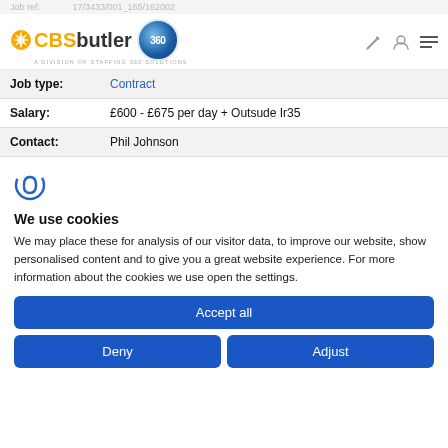Job ref: 17/3433/001_165/162002
[Figure (logo): CBSbutler 360 logo - a division of Staffing 360 Solutions]
| Field | Value |
| --- | --- |
| Job type: | Contract |
| Salary: | £600 - £675 per day + Outsude Ir35 |
| Contact: | Phil Johnson |
[Figure (logo): Cookiebot logo - stylized C with wavy lines]
We use cookies
We may place these for analysis of our visitor data, to improve our website, show personalised content and to give you a great website experience. For more information about the cookies we use open the settings.
Accept all
Deny
Adjust